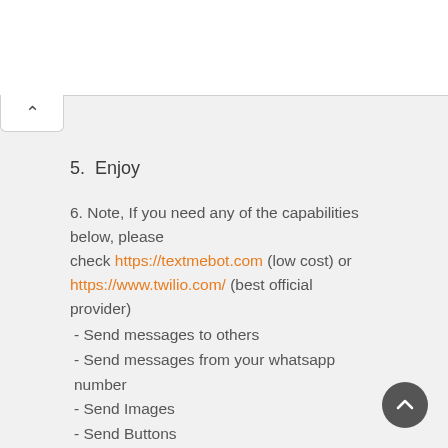[Figure (screenshot): Top white bar region (partial page header area)]
5.  Enjoy
6. Note, If you need any of the capabilities below, please check https://textmebot.com (low cost) or https://www.twilio.com/ (best official provider)
- Send messages to others
- Send messages from your whatsapp number
- Send Images
- Send Buttons
- Send documents
- Receive the answers